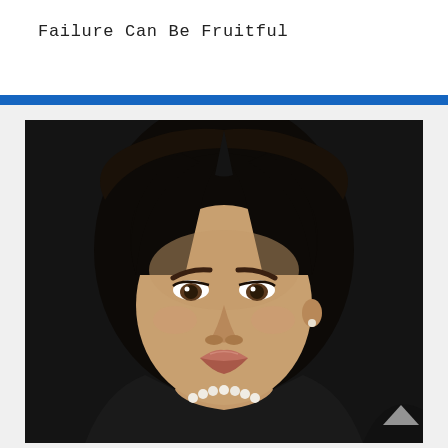Failure Can Be Fruitful
[Figure (photo): Professional headshot portrait of a woman with dark hair, wearing a black top and pearl necklace, photographed against a dark background]